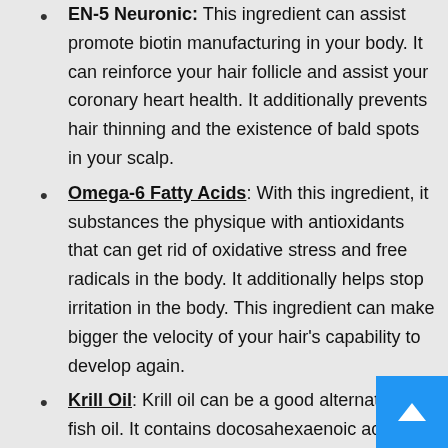EN-5 Neuronic: This ingredient can assist promote biotin manufacturing in your body. It can reinforce your hair follicle and assist your coronary heart health. It additionally prevents hair thinning and the existence of bald spots in your scalp.
Omega-6 Fatty Acids: With this ingredient, it substances the physique with antioxidants that can get rid of oxidative stress and free radicals in the body. It additionally helps stop irritation in the body. This ingredient can make bigger the velocity of your hair's capability to develop again.
Krill Oil: Krill oil can be a good alternative to fish oil. It contains docosahexaenoic acid, omega-3 fatty acids, and eicosapentaenoic acid. It also contains astaxanthin's pigment that can significantly s... inflammation and it also contains antioxidants that